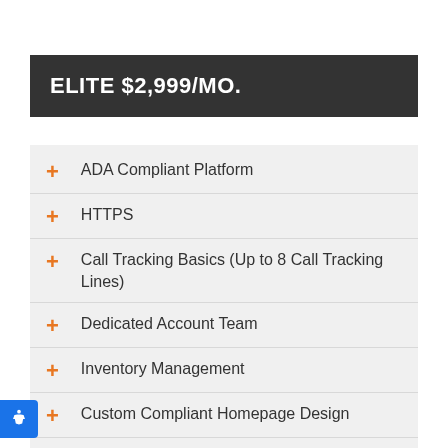ELITE $2,999/MO.
ADA Compliant Platform
HTTPS
Call Tracking Basics (Up to 8 Call Tracking Lines)
Dedicated Account Team
Inventory Management
Custom Compliant Homepage Design
Enterprise Specials Manager
Local SEO Fundamentals
Beacon Website Reporting